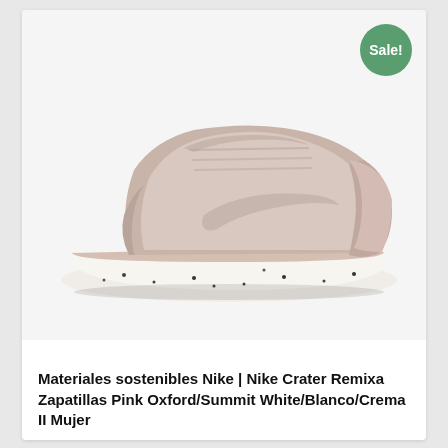[Figure (photo): Nike Crater Remixa sneaker in Pink Oxford/Summit White colorway, side profile view showing the shoe on a white speckled sole, displayed on light grey background. A green 'Sale!' badge appears in the top right corner of the image.]
Materiales sostenibles Nike | Nike Crater Remixa Zapatillas Pink Oxford/Summit White/Blanco/Crema II Mujer